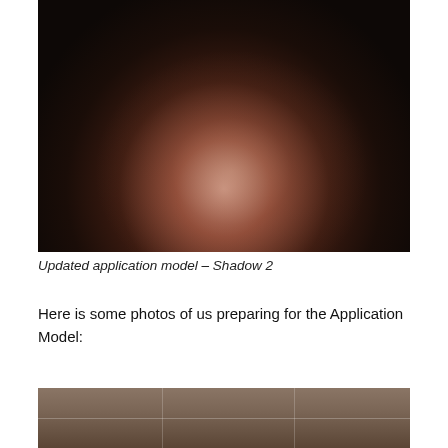[Figure (photo): A dark photograph showing a crocheted or woven nest-like object in pink/mauve tones with small white beads or flowers, placed on a dark surface. Dark leafy branches visible in the background against a grey wall.]
Updated application model – Shadow 2
Here is some photos of us preparing for the Application Model:
[Figure (photo): Partial photo showing a tiled floor with brown/grey square tiles and visible grout lines.]